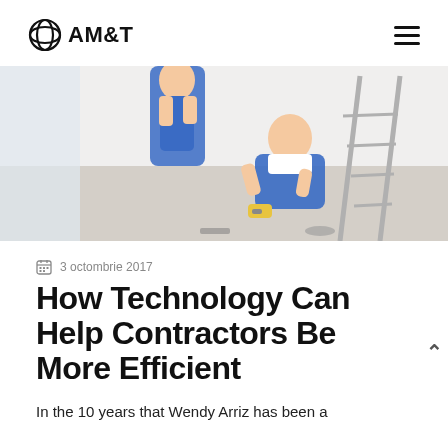AM&T
[Figure (photo): Two workers in blue overalls working on a floor near a ladder in a bright white room. One is kneeling and using a measuring tape.]
3 octombrie 2017
How Technology Can Help Contractors Be More Efficient
In the 10 years that Wendy Arriz has been a